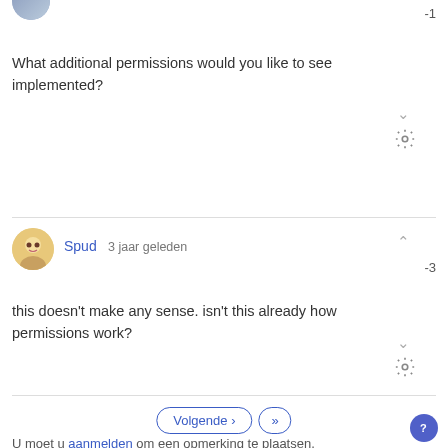What additional permissions would you like to see implemented?
Spud · 3 jaar geleden
this doesn't make any sense. isn't this already how permissions work?
U moet u aanmelden om een opmerking te plaatsen.